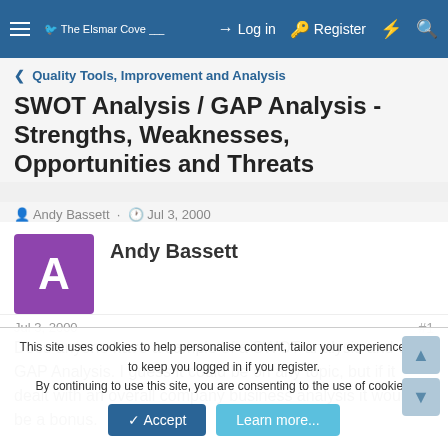The Elsmar Cove | Log in | Register
Quality Tools, Improvement and Analysis
SWOT Analysis / GAP Analysis - Strengths, Weaknesses, Opportunities and Threats
Andy Bassett · Jul 3, 2000
Andy Bassett
Jul 3, 2000
#1
Does anyone have a sample of a SWOT analysis and or a GAP Analysis. I guess it could be on any topic, but if it dealt with an overall company business analysis it would be a bonus.
This site uses cookies to help personalise content, tailor your experience and to keep you logged in if you register.
By continuing to use this site, you are consenting to the use of cookies.
Accept
Learn more...